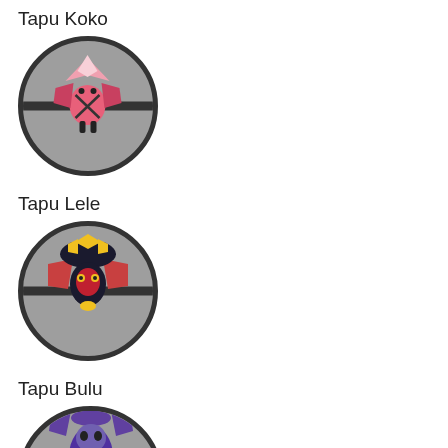Tapu Koko
[Figure (illustration): Tapu Koko Pokemon sprite inside a gray pokeball circle with dark border]
Tapu Lele
[Figure (illustration): Tapu Lele Pokemon sprite inside a gray pokeball circle with dark border]
Tapu Bulu
[Figure (illustration): Tapu Bulu Pokemon sprite inside a gray pokeball circle with dark border, partially cropped]